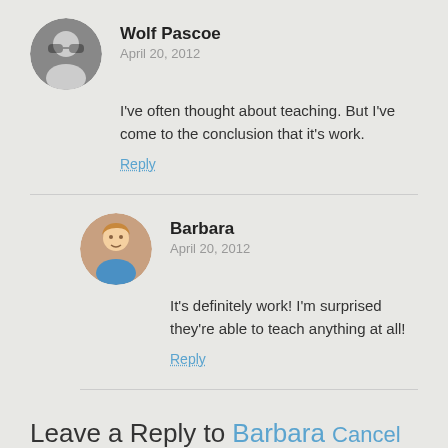Wolf Pascoe
April 20, 2012
I've often thought about teaching. But I've come to the conclusion that it's work.
Reply
Barbara
April 20, 2012
It's definitely work! I'm surprised they're able to teach anything at all!
Reply
Leave a Reply to Barbara Cancel reply
Your email address will not be published. Required fields are marked